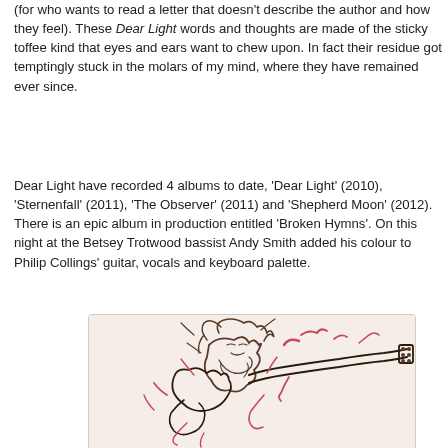(for who wants to read a letter that doesn't describe the author and how they feel). These Dear Light words and thoughts are made of the sticky toffee kind that eyes and ears want to chew upon. In fact their residue got temptingly stuck in the molars of my mind, where they have remained ever since.
Dear Light have recorded 4 albums to date, 'Dear Light' (2010), 'Sternenfall' (2011), 'The Observer' (2011) and 'Shepherd Moon' (2012). There is an epic album in production entitled 'Broken Hymns'. On this night at the Betsey Trotwood bassist Andy Smith added his colour to Philip Collings' guitar, vocals and keyboard palette.
[Figure (illustration): A loose, expressive line drawing of a guitarist playing energetically, rendered in dark brown/black ink with pink/red accent marks suggesting movement and energy.]